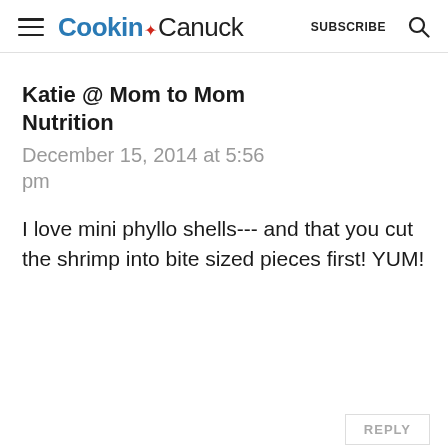Cookin Canuck  SUBSCRIBE
Katie @ Mom to Mom Nutrition
December 15, 2014 at 5:56 pm
I love mini phyllo shells--- and that you cut the shrimp into bite sized pieces first! YUM!
REPLY